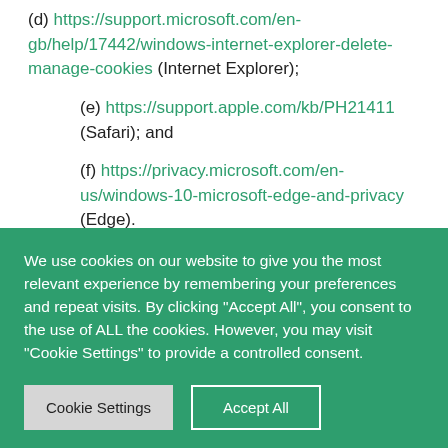(d) https://support.microsoft.com/en-gb/help/17442/windows-internet-explorer-delete-manage-cookies (Internet Explorer);
(e) https://support.apple.com/kb/PH21411 (Safari); and
(f) https://privacy.microsoft.com/en-us/windows-10-microsoft-edge-and-privacy (Edge).
6.2 Blocking all cookies will have a negative impact
We use cookies on our website to give you the most relevant experience by remembering your preferences and repeat visits. By clicking "Accept All", you consent to the use of ALL the cookies. However, you may visit "Cookie Settings" to provide a controlled consent.